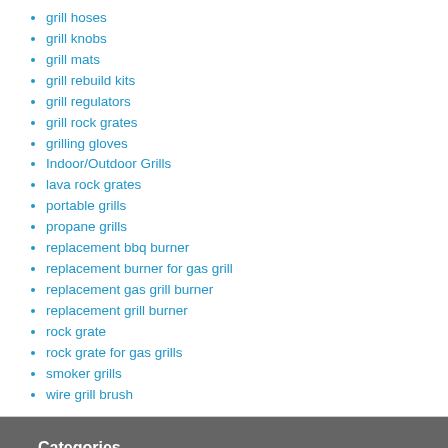grill hoses
grill knobs
grill mats
grill rebuild kits
grill regulators
grill rock grates
grilling gloves
Indoor/Outdoor Grills
lava rock grates
portable grills
propane grills
replacement bbq burner
replacement burner for gas grill
replacement gas grill burner
replacement grill burner
rock grate
rock grate for gas grills
smoker grills
wire grill brush
Categories
barbecue burner replacement
barbecue cart
barbecue grill burner replacement